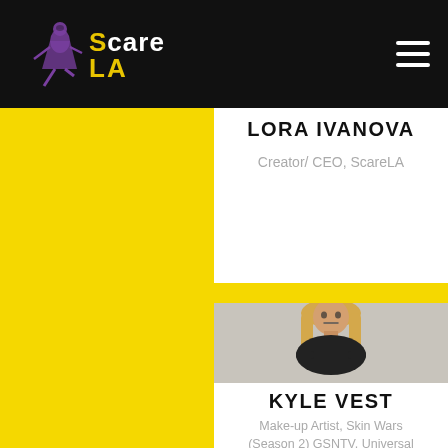[Figure (logo): ScareLA logo with skeletal figure on black background]
LORA IVANOVA
Creator/ CEO, ScareLA
[Figure (photo): Kyle Vest - man with long blonde hair wearing black shirt]
KYLE VEST
Make-up Artist, Skin Wars (Season 2) GSNTV, Universal